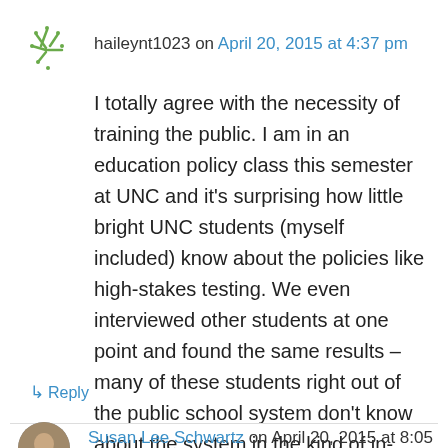haileynt1023 on April 20, 2015 at 4:37 pm
I totally agree with the necessity of training the public. I am in an education policy class this semester at UNC and it's surprising how little bright UNC students (myself included) know about the policies like high-stakes testing. We even interviewed other students at one point and found the same results – many of these students right out of the public school system don't know about the system in the kind of in-depth way to understand problems like these.
↳ Reply
Susan Lee Schwartz on April 20, 2015 at 8:05 pm